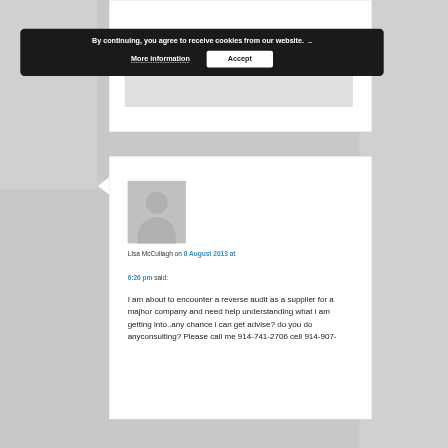By continuing, you agree to receive cookies from our website. ..
More information
Accept
Reply ↓
LIsa McCullagh on 8 August 2013 at 6:26 pm said:
I am about to encounter a reverse audit as a supplier for a majhor company and need help understanding what i am getting into..any chance i can get advise? do you do anyconsulting? Please call me 914-741-2706 cell 914-907-